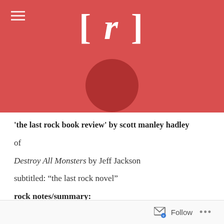[Figure (logo): Red banner header with white [r] bracket logo and darker red circle below, plus hamburger menu icon top left]
‘the last rock book review’ by scott manley hadley
of
Destroy All Monsters by Jeff Jackson
subtitled: “the last rock novel”
rock notes/summary:
Follow ...